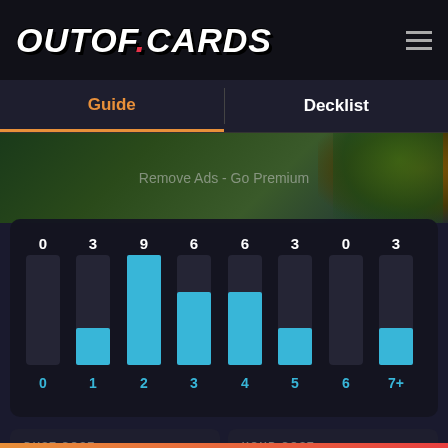[Figure (logo): OUTOF.CARDS logo in white bold italic text with red dot]
Guide
Decklist
Remove Ads - Go Premium
[Figure (bar-chart): Mana curve]
DUST COST
11420
YOUR COST
11420